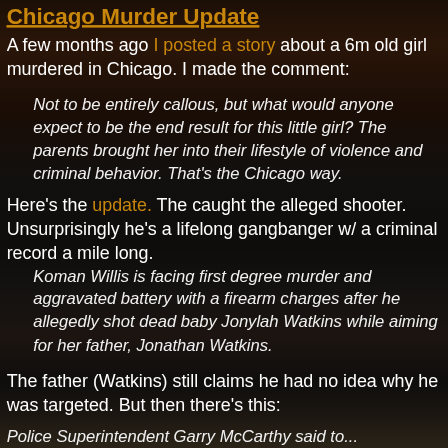Chicago Murder Update
A few months ago I posted a story about a 6m old girl murdered in Chicago. I made the comment:
Not to be entirely callous, but what would anyone expect to be the end result for this little girl?  The parents brought her into their lifestyle of violence and criminal behavior.  That's the Chicago way.
Here's the update.  The caught the alleged shooter.  Unsurprisingly he's a lifelong gangbanger w/ a criminal record a mile long.
Koman Willis is facing first degree murder and aggravated battery with a firearm charges after he allegedly shot dead baby Jonylah Watkins while aiming for her father, Jonathan Watkins.
The father (Watkins) still claims he had no idea why he was targeted.  But then there's this:
Police Superintendent Garry McCarthy said to...